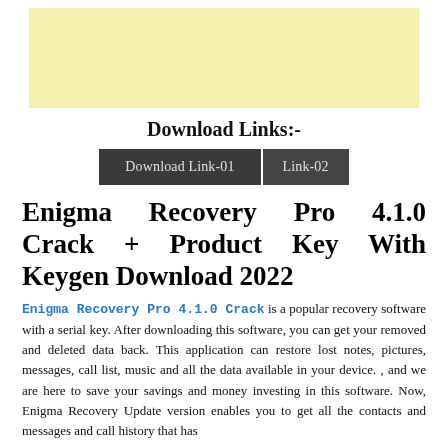[Figure (other): Yellow/cream advertisement banner at top of page]
Download Links:-
Download Link-01   Link-02
Enigma Recovery Pro 4.1.0 Crack + Product Key With Keygen Download 2022
Enigma Recovery Pro 4.1.0 Crack is a popular recovery software with a serial key. After downloading this software, you can get your removed and deleted data back. This application can restore lost notes, pictures, messages, call list, music and all the data available in your device. , and we are here to save your savings and money investing in this software. Now, Enigma Recovery Update version enables you to get all the contacts and messages and call history that has